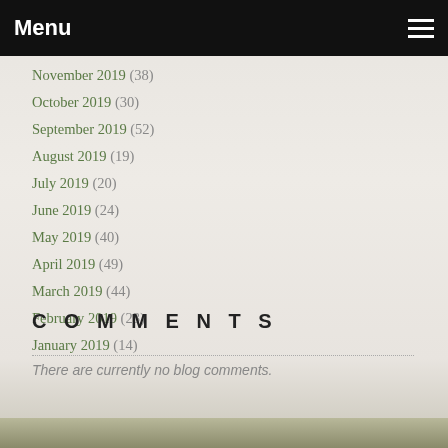Menu
November 2019 (38)
October 2019 (30)
September 2019 (52)
August 2019 (19)
July 2019 (20)
June 2019 (24)
May 2019 (40)
April 2019 (49)
March 2019 (44)
February 2019 (23)
January 2019 (14)
COMMENTS
There are currently no blog comments.